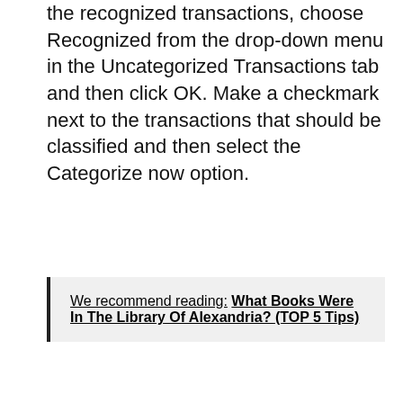the recognized transactions, choose Recognized from the drop-down menu in the Uncategorized Transactions tab and then click OK. Make a checkmark next to the transactions that should be classified and then select the Categorize now option.
We recommend reading: What Books Were In The Library Of Alexandria? (TOP 5 Tips)
What is undeposited funds in